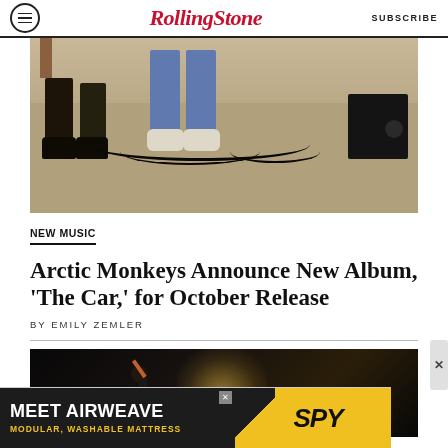Rolling Stone | SUBSCRIBE
[Figure (photo): Band members' legs and feet visible from knees down, sitting in a room with audio cables on the floor and an amplifier on the right]
NEW MUSIC
Arctic Monkeys Announce New Album, 'The Car,' for October Release
BY EMILY ZEMLER
[Figure (photo): Performer on stage with spotlight, dark background]
[Figure (other): Advertisement: MEET AIRWEAVE - MODULAR, WASHABLE MATTRESS | SPY]